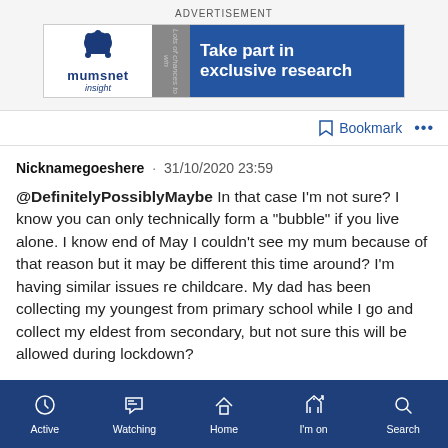ADVERTISEMENT
[Figure (other): Mumsnet Insight advertisement banner: logo on left with crown icon and 'mumsnet insight' text, grey middle section, blue right section reading 'Take part in exclusive research' with 'Lots of chances to win' in lighter text]
Bookmark ...
Nicknamegoeshere · 31/10/2020 23:59
@DefinitelyPossiblyMaybe In that case I'm not sure? I know you can only technically form a "bubble" if you live alone. I know end of May I couldn't see my mum because of that reason but it may be different this time around? I'm having similar issues re childcare. My dad has been collecting my youngest from primary school while I go and collect my eldest from secondary, but not sure this will be allowed during lockdown?
Active  Watching  Home  I'm on  Search